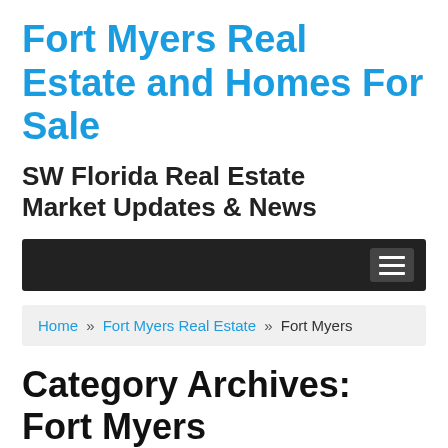Fort Myers Real Estate and Homes For Sale
SW Florida Real Estate Market Updates & News
[Figure (screenshot): Dark navigation bar with hamburger menu icon on the right]
Home » Fort Myers Real Estate » Fort Myers
Category Archives: Fort Myers